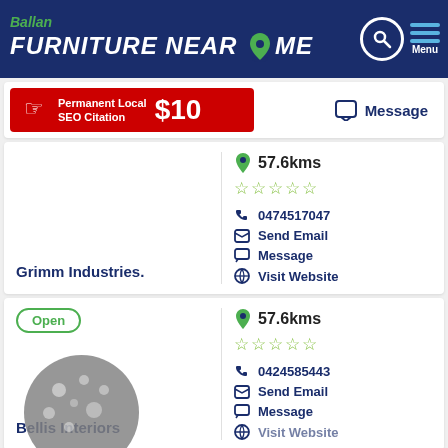Ballan FURNITURE NEAR ME
[Figure (screenshot): Red ad banner: Permanent Local SEO Citation $10 with hand icon]
Message
Grimm Industries. | 57.6kms | 0 stars | 0474517047 | Send Email | Message | Visit Website
Open | Bellis Interiors | 57.6kms | 0 stars | 0424585443 | Send Email | Message | Visit Website